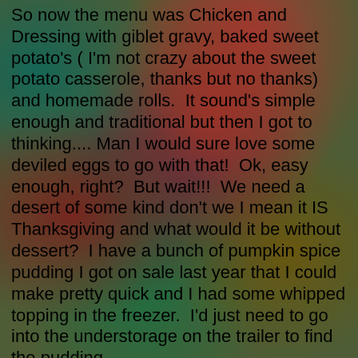So now the menu was Chicken and Dressing with giblet gravy, baked sweet potato's ( I'm not crazy about the sweet potato casserole, thanks but no thanks) and homemade rolls.  It sound's simple enough and traditional but then I got to thinking.... Man I would sure love some deviled eggs to go with that!  Ok, easy enough, right?  But wait!!!  We need a desert of some kind don't we I mean it IS Thanksgiving and what would it be without dessert?  I have a bunch of pumpkin spice pudding I got on sale last year that I could make pretty quick and I had some whipped topping in the freezer.  I'd just need to go into the understorage on the trailer to find the pudding.
So I set out to make Thanksgiving Dinner. And apparently, looking back, I was having a "Blonde" day.
Step 1) Mix up the dough.  Got hot water ready to